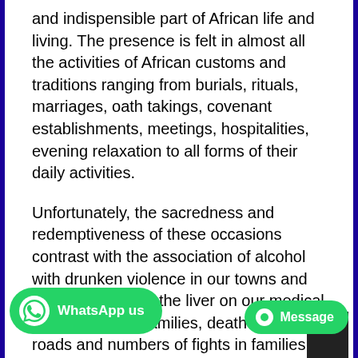and indispensible part of African life and living. The presence is felt in almost all the activities of African customs and traditions ranging from burials, rituals, marriages, oath takings, covenant establishments, meetings, hospitalities, evening relaxation to all forms of their daily activities.
Unfortunately, the sacredness and redemptiveness of these occasions contrast with the association of alcohol with drunken violence in our towns and cities, cirrhosis of the liver on our medical wards, debts in families, death on our roads and numbers of fights in families. It contrasts more especially with the enslavement, which is alcoholism or alcohol addiction. This contrasting nature of alcoholic drink is clearly revealed in different chapters and verses of the Hebrew Scripture, the Old Testament. Serious addiction and lust towards alcoholic wine. At some